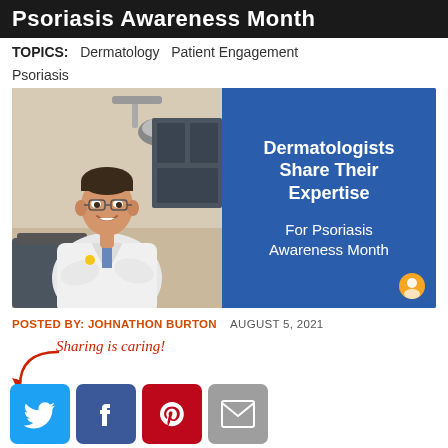Psoriasis Awareness Month
TOPICS: Dermatology  Patient Engagement  Psoriasis
[Figure (photo): Promotional banner image with a dermatologist in white coat on the left side and blue background on the right showing text: Dermatologists Share Their Expertise For Psoriasis Awareness Month]
POSTED BY: JOHNATHON BURTON   AUGUST 5, 2021
Sharing is caring!
[Figure (infographic): Social sharing buttons: Twitter (blue bird), Facebook (blue f), Pinterest (red P), Email (grey envelope)]